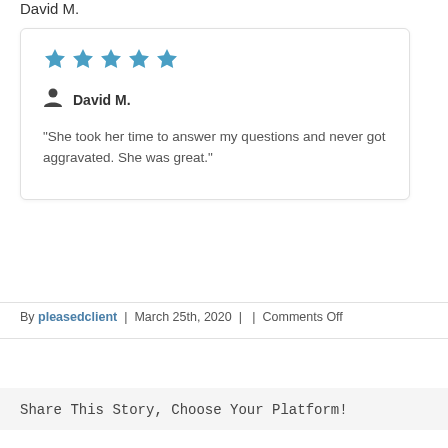David M.
[Figure (other): Review card with 5 blue stars, reviewer name David M. with person icon, and review quote text]
By pleasedclient | March 25th, 2020 | | Comments Off
Share This Story, Choose Your Platform!